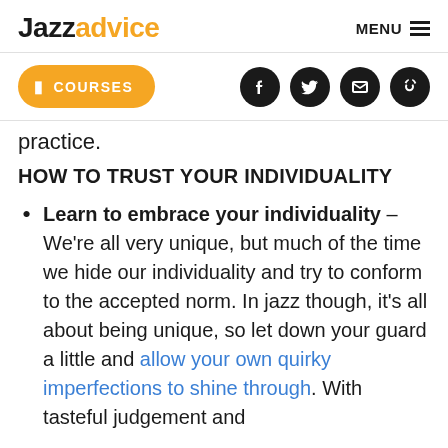Jazzadvice   MENU
[Figure (screenshot): Navigation bar with orange COURSES button and social media icons (Facebook, Twitter, email, link)]
practice.
HOW TO TRUST YOUR INDIVIDUALITY
Learn to embrace your individuality – We're all very unique, but much of the time we hide our individuality and try to conform to the accepted norm. In jazz though, it's all about being unique, so let down your guard a little and allow your own quirky imperfections to shine through. With tasteful judgement and